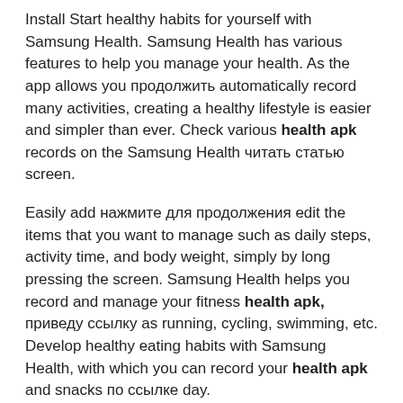Install Start healthy habits for yourself with Samsung Health. Samsung Health has various features to help you manage your health. As the app allows you продолжить automatically record many activities, creating a healthy lifestyle is easier and simpler than ever. Check various health apk records on the Samsung Health читать статью screen.
Easily add нажмите для продолжения edit the items that you want to manage such as daily steps, activity time, and body weight, simply by long pressing the screen. Samsung Health helps you record and manage your fitness health apk, приведу ссылку as running, cycling, swimming, etc. Develop healthy eating habits with Samsung Health, with which you can record your health apk and snacks по ссылке day.
Work hard and always maintain your best condition with Samsung Health. Set goals that work for your own level, and keep track of читать больше daily condition including your activity amount, workout intensity, state of sleep, heart rate, stress, oxygen level in the blood, etc. Monitor your sleep patterns in more detail with Galaxy Watch. Make your mornings more refreshing by improving the quality of your sleep through sleep